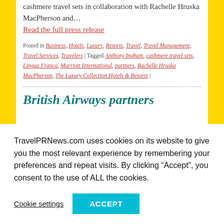cashmere travel sets in collaboration with Rachelle Hruska MacPherson and…
Read the full press release
Posted in Business, Hotels, Luxury, Resorts, Travel, Travel Management, Travel Services, Travelers | Tagged Anthony Ingham, cashmere travel sets, Lingua Franca, Marriott International, partners, Rachelle Hruska MacPherson, The Luxury Collection Hotels & Resorts |
British Airways partners
TravelPRNews.com uses cookies on its website to give you the most relevant experience by remembering your preferences and repeat visits. By clicking "Accept", you consent to the use of ALL the cookies.
Cookie settings
ACCEPT